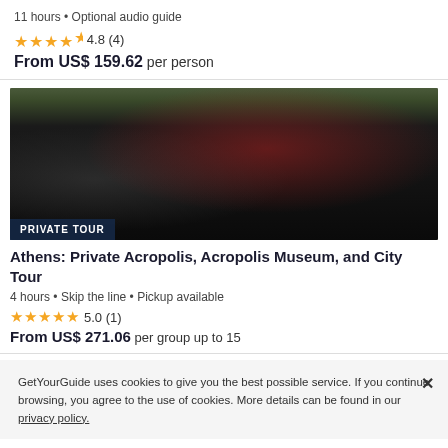11 hours • Optional audio guide
★★★★½ 4.8 (4)
From US$ 159.62 per person
[Figure (photo): Black luxury car rear view with red tail light, outdoor parking lot background. Badge reads PRIVATE TOUR.]
Athens: Private Acropolis, Acropolis Museum, and City Tour
4 hours • Skip the line • Pickup available
★★★★★ 5.0 (1)
From US$ 271.06 per group up to 15
GetYourGuide uses cookies to give you the best possible service. If you continue browsing, you agree to the use of cookies. More details can be found in our privacy policy.